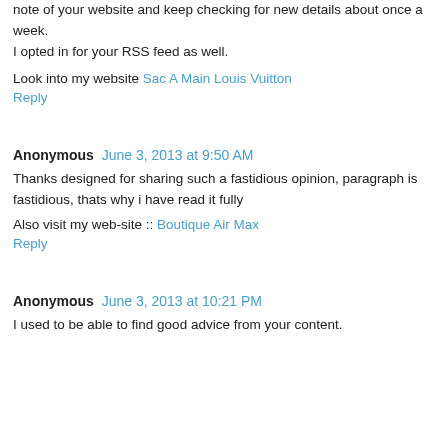note of your website and keep checking for new details about once a week.
I opted in for your RSS feed as well.
Look into my website Sac A Main Louis Vuitton
Reply
Anonymous  June 3, 2013 at 9:50 AM
Thanks designed for sharing such a fastidious opinion, paragraph is fastidious, thats why i have read it fully
Also visit my web-site :: Boutique Air Max
Reply
Anonymous  June 3, 2013 at 10:21 PM
I used to be able to find good advice from your content.